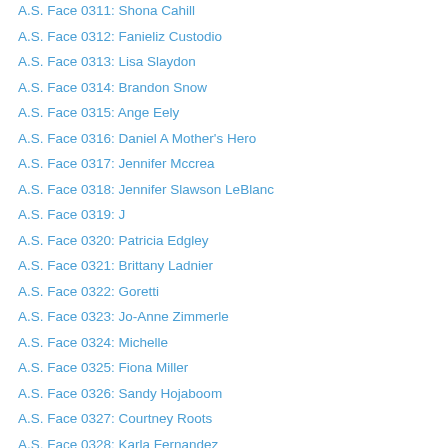A.S. Face 0311: Shona Cahill
A.S. Face 0312: Fanieliz Custodio
A.S. Face 0313: Lisa Slaydon
A.S. Face 0314: Brandon Snow
A.S. Face 0315: Ange Eely
A.S. Face 0316: Daniel A Mother's Hero
A.S. Face 0317: Jennifer Mccrea
A.S. Face 0318: Jennifer Slawson LeBlanc
A.S. Face 0319: J
A.S. Face 0320: Patricia Edgley
A.S. Face 0321: Brittany Ladnier
A.S. Face 0322: Goretti
A.S. Face 0323: Jo-Anne Zimmerle
A.S. Face 0324: Michelle
A.S. Face 0325: Fiona Miller
A.S. Face 0326: Sandy Hojaboom
A.S. Face 0327: Courtney Roots
A.S. Face 0328: Karla Fernandez
A.S. Face 0329: Juanita Vela Jung
A.S. Face 0330: Nina J...